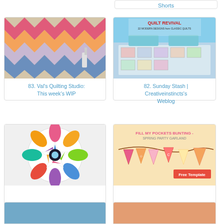[Figure (photo): Partial card at top right showing 'Shorts' text link]
[Figure (photo): Chevron quilt pattern in pink, orange, blue and floral fabrics hanging on wall]
83. Val's Quilting Studio: This week's WIP
[Figure (photo): Quilt Revival book cover with modern quilt on bed with teal pillows]
82. Sunday Stash | Creativeinstincts's Weblog
[Figure (photo): Colorful kaleidoscope quilt in a circular mandala pattern with bright colors on white background]
81. Fresh Off The Frame: Kaleido Quilt Show!
[Figure (photo): Fill My Pockets Bunting spring party garland with triangular flags and free template label]
80. Fill My Pockets Bunting - Tutorial with free template
[Figure (photo): Partial bottom card showing blue quilt or fabric]
[Figure (photo): Partial bottom card showing colorful fabric or craft item]